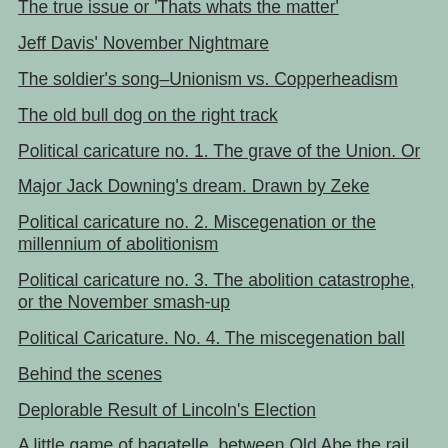The true issue or 'Thats whats the matter'
Jeff Davis' November Nightmare
The soldier's song–Unionism vs. Copperheadism
The old bull dog on the right track
Political caricature no. 1. The grave of the Union. Or
Major Jack Downing's dream. Drawn by Zeke
Political caricature no. 2. Miscegenation or the millennium of abolitionism
Political caricature no. 3. The abolition catastrophe, or the November smash-up
Political Caricature. No. 4. The miscegenation ball
Behind the scenes
Deplorable Result of Lincoln's Election
A little game of bagatelle, between Old Abe the rail